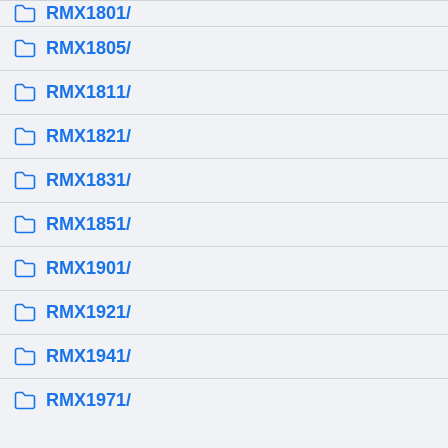RMX1801/
RMX1805/
RMX1811/
RMX1821/
RMX1831/
RMX1851/
RMX1901/
RMX1921/
RMX1941/
RMX1971/